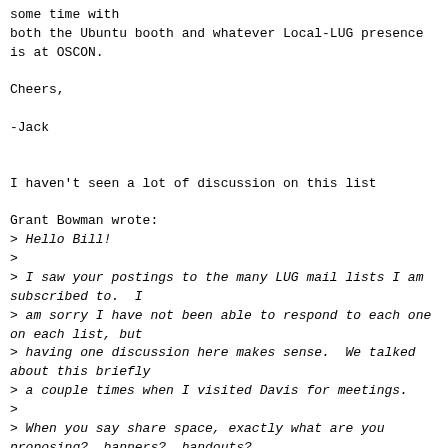some time with
both the Ubuntu booth and whatever Local-LUG presence
is at OSCON.

Cheers,

-Jack
I haven't seen a lot of discussion on this list
Grant Bowman wrote:
> Hello Bill!
>
> I saw your postings to the many LUG mail lists I am
subscribed to.  I
> am sorry I have not been able to respond to each one
on each list, but
> having one discussion here makes sense.  We talked
about this briefly
> a couple times when I visited Davis for meetings.
>
> When you say share space, exactly what are you
proposing?  banners?  handouts?
>
> For our own planning we are finalizing the purchase
of electricity for
> the .ORG Pavilion booth #4 (not free this year),
thinking about giving